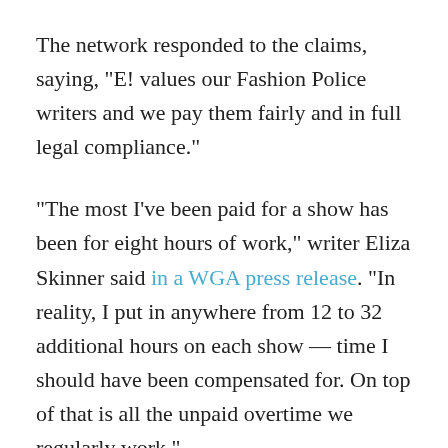The network responded to the claims, saying, "E! values our Fashion Police writers and we pay them fairly and in full legal compliance."
“The most I’ve been paid for a show has been for eight hours of work,” writer Eliza Skinner said in a WGA press release. “In reality, I put in anywhere from 12 to 32 additional hours on each show — time I should have been compensated for. On top of that is all the unpaid overtime we regularly work.”
Skinner described the show’s production in an email to KPCC. “We are given photos for the show the week before we pitch. The day before the taping we pitch about 200 jokes a piece at a four- to five-hour